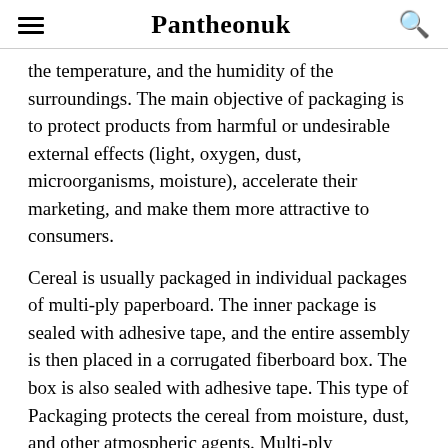Pantheonuk
the temperature, and the humidity of the surroundings. The main objective of packaging is to protect products from harmful or undesirable external effects (light, oxygen, dust, microorganisms, moisture), accelerate their marketing, and make them more attractive to consumers.
Cereal is usually packaged in individual packages of multi-ply paperboard. The inner package is sealed with adhesive tape, and the entire assembly is then placed in a corrugated fiberboard box. The box is also sealed with adhesive tape. This type of Packaging protects the cereal from moisture, dust, and other atmospheric agents. Multi-ply paperboard is a strong and durable material that can be easily recycled and reused to manufacture new paperboard.